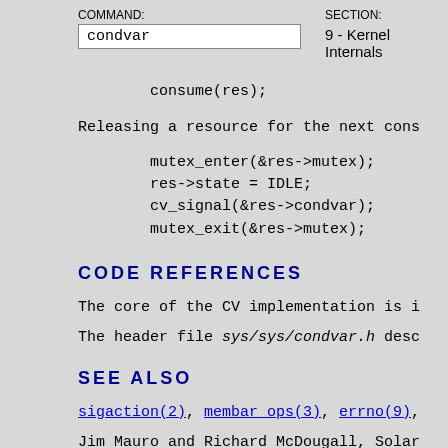COMMAND: condvar   SECTION: 9 - Kernel Internals
consume(res);
Releasing a resource for the next cons...
mutex_enter(&res->mutex);
res->state = IDLE;
cv_signal(&res->condvar);
mutex_exit(&res->mutex);
CODE REFERENCES
The core of the CV implementation is i...
The header file sys/sys/condvar.h desc...
SEE ALSO
sigaction(2), membar ops(3), errno(9),...
Jim Mauro and Richard McDougall, Solar...